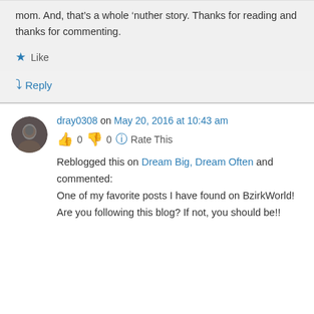mom. And, that's a whole 'nuther story. Thanks for reading and thanks for commenting.
★ Like
↳ Reply
dray0308 on May 20, 2016 at 10:43 am
👍 0 👎 0 🔵 Rate This
Reblogged this on Dream Big, Dream Often and commented: One of my favorite posts I have found on BzirkWorld! Are you following this blog? If not, you should be!!